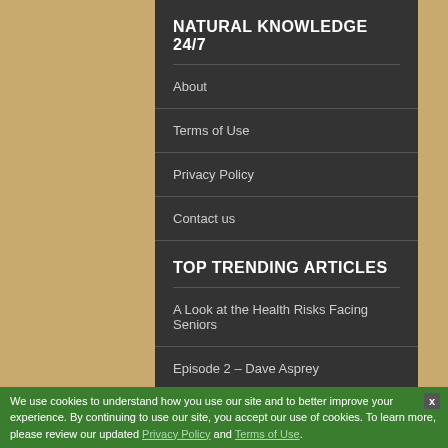NATURAL KNOWLEDGE 24/7
About
Terms of Use
Privacy Policy
Contact us
TOP TRENDING ARTICLES
A Look at the Health Risks Facing Seniors
Episode 2 – Dave Asprey
Want to Save Your Knees? Try Losing Weight
We use cookies to understand how you use our site and to better improve your experience. By continuing to use our site, you accept our use of cookies. To learn more, please review our updated Privacy Policy and Terms of Use.